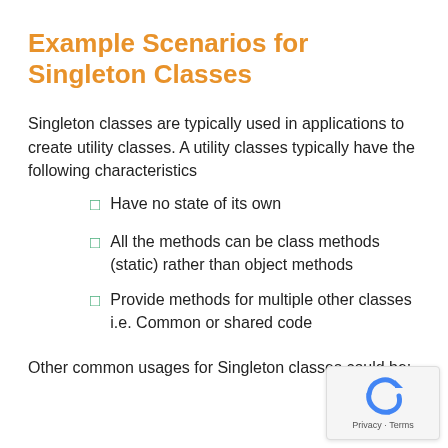Example Scenarios for Singleton Classes
Singleton classes are typically used in applications to create utility classes. A utility classes typically have the following characteristics
Have no state of its own
All the methods can be class methods (static) rather than object methods
Provide methods for multiple other classes i.e. Common or shared code
Other common usages for Singleton classes could be: